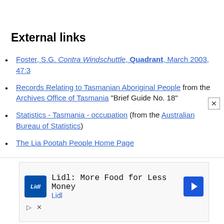External links
Foster, S.G. Contra Windschuttle, Quadrant, March 2003, 47:3
Records Relating to Tasmanian Aboriginal People from the Archives Office of Tasmania "Brief Guide No. 18"
Statistics - Tasmania - occupation (from the Australian Bureau of Statistics)
The Lia Pootah People Home Page
Historian dismisses Tasmanian aboriginal genocide "myth" (contains edited transcript of 2002 ABC radio interviews by Peter McCutcheon with historian and author Keith Windschuttle and historian and author Henry Reynolds)